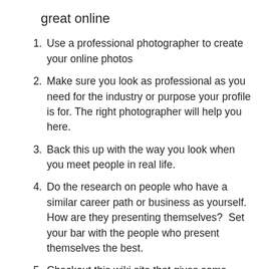great online
Use a professional photographer to create your online photos
Make sure you look as professional as you need for the industry or purpose your profile is for. The right photographer will help you here.
Back this up with the way you look when you meet people in real life.
Do the research on people who have a similar career path or business as yourself. How are they presenting themselves?  Set your bar with the people who present themselves the best.
Checkout this wiki site that gives some great